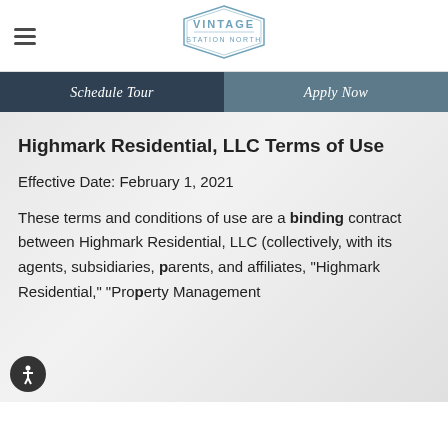VINTAGE STATION NORTH
Schedule Tour | Apply Now
Highmark Residential, LLC Terms of Use
Effective Date: February 1, 2021
These terms and conditions of use are a binding contract between Highmark Residential, LLC (collectively, with its agents, subsidiaries, parents, and affiliates, "Highmark Residential," "Property Management